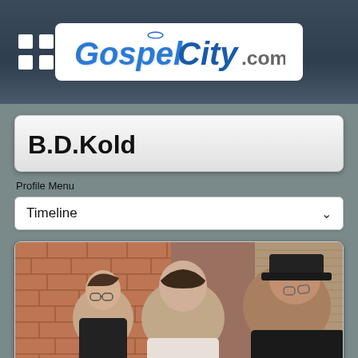[Figure (screenshot): GospelCity.com website header with logo and hamburger menu icon on dark blue-grey background]
B.D.Kold
Profile Menu
Timeline
[Figure (photo): Three people seated at a restaurant table with brick wall background. Two men and a woman posing for the photo.]